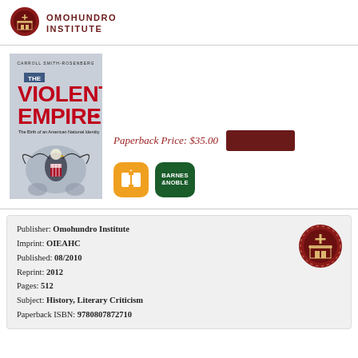[Figure (logo): Omohundro Institute logo — circular red seal with building icon]
OMOHUNDRO INSTITUTE
[Figure (illustration): Book cover: The Violent Empire by Carroll Smith-Rosenberg, showing American eagle with shield]
Paperback Price: $35.00
[Figure (logo): Apple Books orange icon]
[Figure (logo): Barnes & Noble green icon]
Publisher: Omohundro Institute
Imprint: OIEAHC
Published: 08/2010
Reprint: 2012
Pages: 512
Subject: History, Literary Criticism
Paperback ISBN: 9780807872710